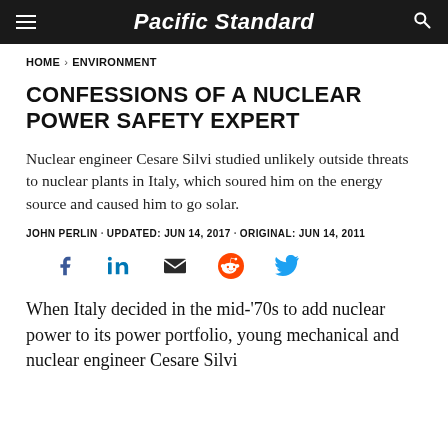Pacific Standard
HOME > ENVIRONMENT
CONFESSIONS OF A NUCLEAR POWER SAFETY EXPERT
Nuclear engineer Cesare Silvi studied unlikely outside threats to nuclear plants in Italy, which soured him on the energy source and caused him to go solar.
JOHN PERLIN · UPDATED: JUN 14, 2017 · ORIGINAL: JUN 14, 2011
[Figure (infographic): Social share icons: Facebook (blue), LinkedIn (blue), Email (dark), Reddit (orange), Twitter (blue)]
When Italy decided in the mid-'70s to add nuclear power to its power portfolio, young mechanical and nuclear engineer Cesare Silvi